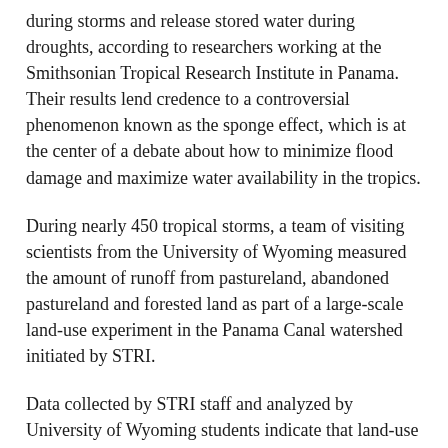during storms and release stored water during droughts, according to researchers working at the Smithsonian Tropical Research Institute in Panama. Their results lend credence to a controversial phenomenon known as the sponge effect, which is at the center of a debate about how to minimize flood damage and maximize water availability in the tropics.
During nearly 450 tropical storms, a team of visiting scientists from the University of Wyoming measured the amount of runoff from pastureland, abandoned pastureland and forested land as part of a large-scale land-use experiment in the Panama Canal watershed initiated by STRI.
Data collected by STRI staff and analyzed by University of Wyoming students indicate that land-use history has complex, long-term effects.
"We measured large differences in hydrologic response between watersheds with different land-use histories and land cover," said Fred Ogden, STRI Senior Research